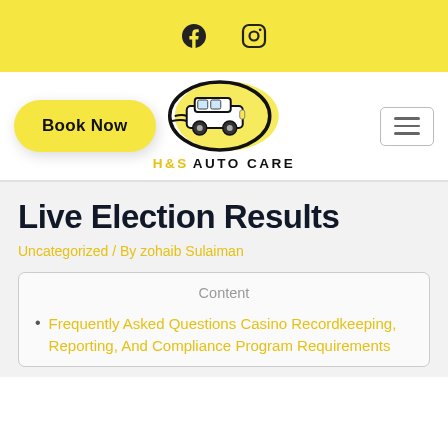Social media icons: Facebook, Instagram
[Figure (logo): H&S Auto Care logo with van illustration and yellow oval, text 'H&S AUTO CARE']
Live Election Results
Uncategorized / By zohaib Sulaiman
Content
Frequently Asked Questions Casino Recordkeeping, Reporting, And Compliance Program Requirements